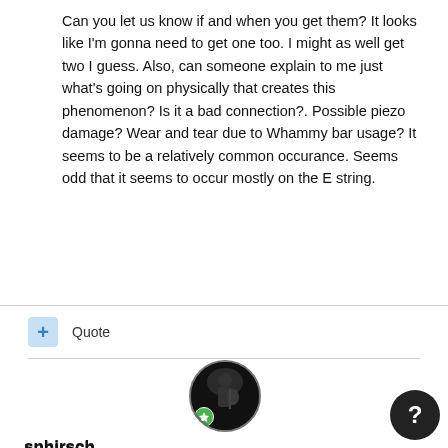Can you let us know if and when you get them? It looks like I'm gonna need to get one too. I might as well get two I guess. Also, can someone explain to me just what's going on physically that creates this phenomenon? Is it a bad connection?. Possible piezo damage? Wear and tear due to Whammy bar usage? It seems to be a relatively common occurance. Seems odd that it seems to occur mostly on the E string.
Quote
snhirsch
Posted October 22, 2014
They rolled in this past Monday.  Singularly unimpressive performance on Line6's part.  I won't have time to pull the guitar apart until this weekend.  Hopefully this will cure the numb low E string.